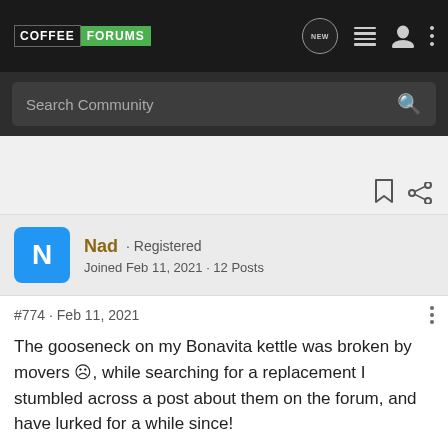COFFEE FORUMS
Search Community
Nad · Registered
Joined Feb 11, 2021 · 12 Posts
#774 · Feb 11, 2021
The gooseneck on my Bonavita kettle was broken by movers ☹, while searching for a replacement I stumbled across a post about them on the forum, and have lurked for a while since!